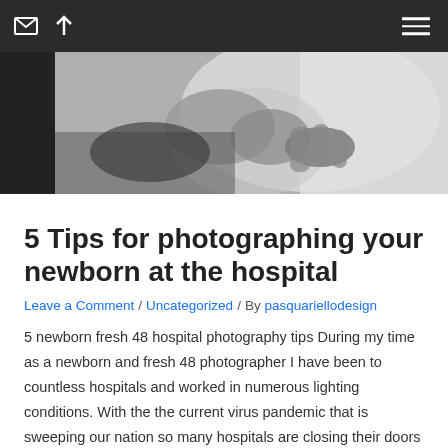[Figure (photo): Black and white close-up photograph of a newborn baby being held by an adult hand in a hospital setting]
5 Tips for photographing your newborn at the hospital
Leave a Comment / Uncategorized / By pasquariellodesign
5 newborn fresh 48 hospital photography tips During my time as a newborn and fresh 48 photographer I have been to countless hospitals and worked in numerous lighting conditions. With the the current virus pandemic that is sweeping our nation so many hospitals are closing their doors to outside visitors, leaving a lot of new …
Read More »